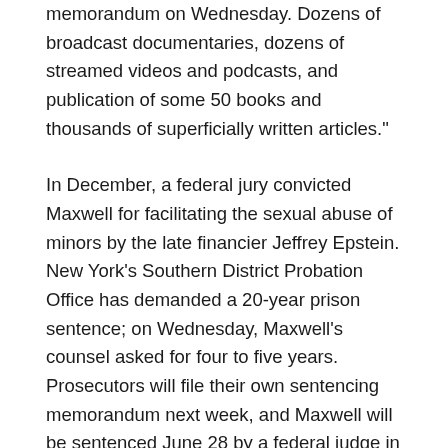memorandum on Wednesday. Dozens of broadcast documentaries, dozens of streamed videos and podcasts, and publication of some 50 books and thousands of superficially written articles."
In December, a federal jury convicted Maxwell for facilitating the sexual abuse of minors by the late financier Jeffrey Epstein. New York's Southern District Probation Office has demanded a 20-year prison sentence; on Wednesday, Maxwell's counsel asked for four to five years. Prosecutors will file their own sentencing memorandum next week, and Maxwell will be sentenced June 28 by a federal judge in Manhattan.
The publisher's plea for leniency was in addition to some of the arguments its lawyers had put forward during the trial. Over three weeks of proceedings in November and December, Maxwell's team pushed to differentiate her from